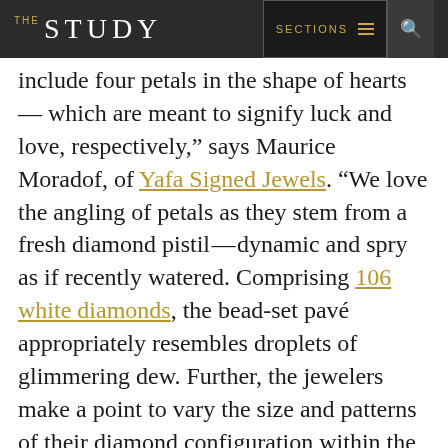THE STUDY | SECTIONS | [search icon]
include four petals in the shape of hearts — which are meant to signify luck and love, respectively," says Maurice Moradof, of Yafa Signed Jewels. "We love the angling of petals as they stem from a fresh diamond pistil — dynamic and spry as if recently watered. Comprising 106 white diamonds, the bead-set pavé appropriately resembles droplets of glimmering dew. Further, the jewelers make a point to vary the size and patterns of their diamond configuration within the petals. Therefore, each piece in the Cosmo Collection is unique."